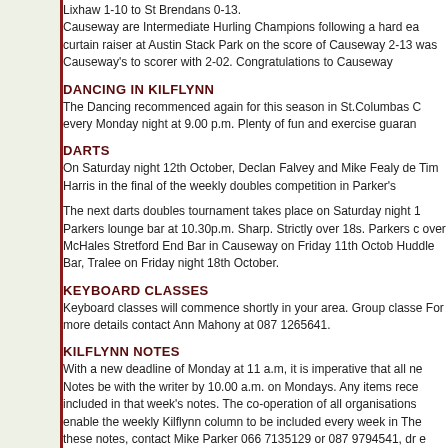Lixhaw 1-10 to St Brendans 0-13. Causeway are Intermediate Hurling Champions following a hard ea curtain raiser at Austin Stack Park on the score of Causeway 2-13 was Causeway's to scorer with 2-02. Congratulations to Causeway
DANCING IN KILFLYNN
The Dancing recommenced again for this season in St.Columbas C every Monday night at 9.00 p.m. Plenty of fun and exercise guaran
DARTS
On Saturday night 12th October, Declan Falvey and Mike Fealy de Tim Harris in the final of the weekly doubles competition in Parker's
The next darts doubles tournament takes place on Saturday night 1 Parkers lounge bar at 10.30p.m. Sharp. Strictly over 18s. Parkers c over McHales Stretford End Bar in Causeway on Friday 11th Octob Huddle Bar, Tralee on Friday night 18th October.
KEYBOARD CLASSES
Keyboard classes will commence shortly in your area. Group classe For more details contact Ann Mahony at 087 1265641.
KILFLYNN NOTES
With a new deadline of Monday at 11 a.m, it is imperative that all ne Notes be with the writer by 10.00 a.m. on Mondays. Any items rece included in that week's notes. The co-operation of all organisations enable the weekly Kilflynn column to be included every week in The these notes, contact Mike Parker 066 7135129 or 087 9794541, dr e mail mikeparker@eircom.net
8th October
FULLER GATHERING
The inaugural meeting of the wider Fuller family and cousins will ta Gathering takes place at the Carlton Hotel Tralee on 11th & 12th O gallery, family mass, gala dinner (Saturday night) and a host of link Stack's mountain, Glenoe, Kilfeigheny and Kilflynn and elsewhere